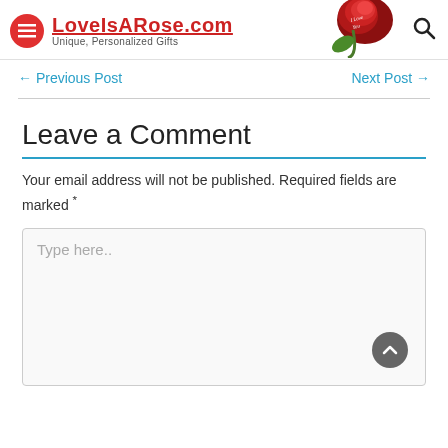LoveIsARose.com — Unique, Personalized Gifts
← Previous Post   Next Post →
Leave a Comment
Your email address will not be published. Required fields are marked *
Type here..